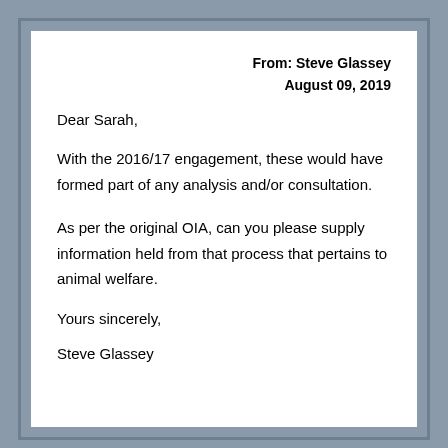From: Steve Glassey
August 09, 2019
Dear Sarah,
With the 2016/17 engagement, these would have formed part of any analysis and/or consultation.
As per the original OIA, can you please supply information held from that process that pertains to animal welfare.
Yours sincerely,
Steve Glassey